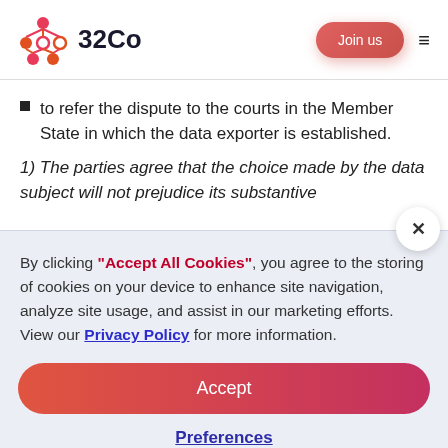[Figure (logo): 32Co logo with connected nodes icon and text '32Co']
to refer the dispute to the courts in the Member State in which the data exporter is established.
1) The parties agree that the choice made by the data subject will not prejudice its substantive
By clicking "Accept All Cookies", you agree to the storing of cookies on your device to enhance site navigation, analyze site usage, and assist in our marketing efforts. View our Privacy Policy for more information.
Accept
Preferences